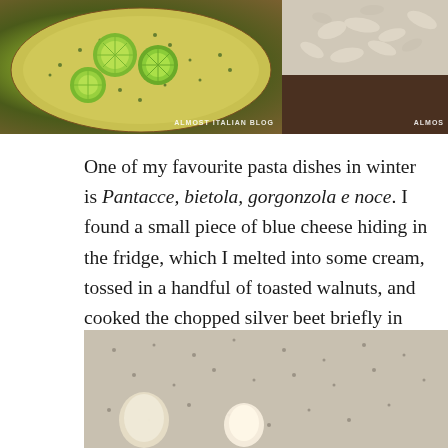[Figure (photo): Overhead photo of a plate with lime halves and green herbs/parsley on a yellow-green speckled ceramic plate. Watermark reads ALMOST ITALIAN BLOG.]
[Figure (photo): Partial photo of what appears to be a white sculptural relief with leaf/grain shapes, dark wooden surface beneath. Watermark reads ALMOS (truncated, ALMOST ITALIAN BLOG).]
One of my favourite pasta dishes in winter is Pantacce, bietola, gorgonzola e noce. I found a small piece of blue cheese hiding in the fridge, which I melted into some cream, tossed in a handful of toasted walnuts, and cooked the chopped silver beet briefly in the same pot as the pasta. The components came together in a deep frying pan. A more precise recipe can be found on my post here.
[Figure (photo): Close-up photo of ingredients on a speckled granite or stone surface, appears to show garlic, onion or similar vegetables.]